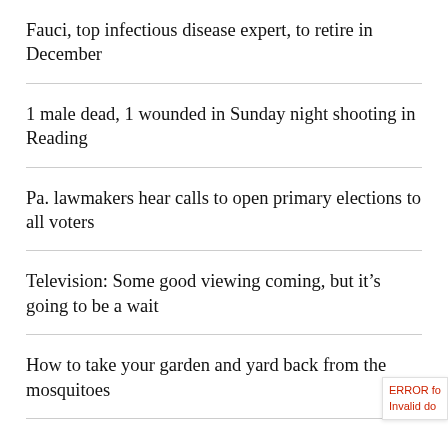Fauci, top infectious disease expert, to retire in December
1 male dead, 1 wounded in Sunday night shooting in Reading
Pa. lawmakers hear calls to open primary elections to all voters
Television: Some good viewing coming, but it’s going to be a wait
How to take your garden and yard back from the mosquitoes